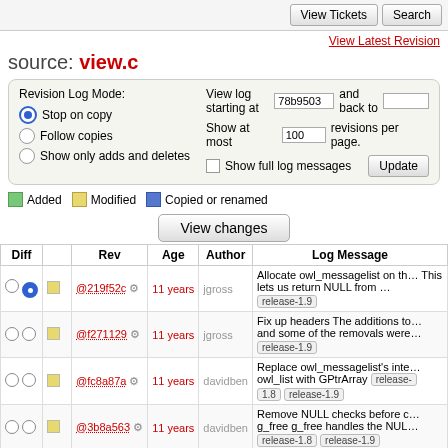View Tickets | Search
View Latest Revision
source: view.c
Revision Log Mode: Stop on copy / Follow copies / Show only adds and deletes | View log starting at 78b9503 and back to | Show at most 100 revisions per page. Show full log messages | Update
Added  Modified  Copied or renamed
View changes
| Diff |  | Rev | Age | Author | Log Message |
| --- | --- | --- | --- | --- | --- |
| ○ ● | □ | @219f52c ⚙ | 11 years | jgross | Allocate owl_messagelist on th... This lets us return NULL from ... [release-1.9] |
| ○ ○ | □ | @f271129 ⚙ | 11 years | jgross | Fix up headers The additions to... and some of the removals were... [release-1.9] |
| ○ ○ | □ | @fc8a87a ⚙ | 11 years | davidben | Replace owl_messagelist's inte... owl_list with GPtrArray [release-1.8] [release-1.9] |
| ○ ○ | □ | @3b8a563 ⚙ | 11 years | davidben | Remove NULL checks before c... g_free g_free handles the NUL... [release-1.8] [release-1.9] |
| ○ ○ | □ | @d4927a7 ⚙ | 12 years | andersk | Replace owl_strdup with g_stro... Signed-off-by: Anders Kaseorg... [release-1.8] [release-1.9] |